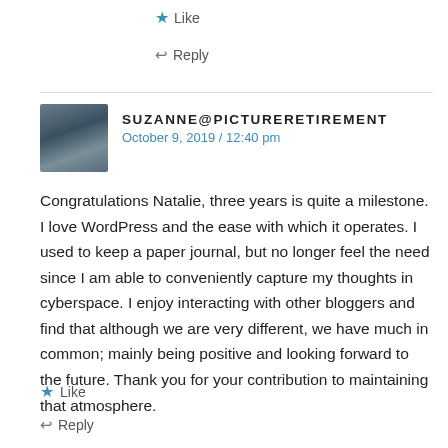★ Like
↩ Reply
SUZANNE@PICTURERETIREMENT
October 9, 2019 / 12:40 pm
Congratulations Natalie, three years is quite a milestone. I love WordPress and the ease with which it operates. I used to keep a paper journal, but no longer feel the need since I am able to conveniently capture my thoughts in cyberspace. I enjoy interacting with other bloggers and find that although we are very different, we have much in common; mainly being positive and looking forward to the future. Thank you for your contribution to maintaining that atmosphere.
★ Like
↩ Reply